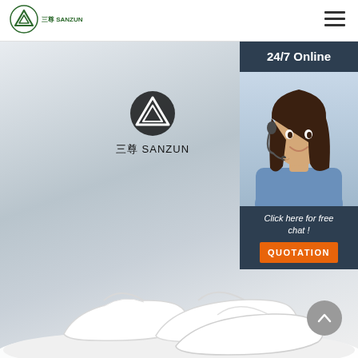[Figure (logo): Sanzun brand logo with green triangle/mountain icon and text '三尊 SANZUN' in header]
[Figure (screenshot): Main hero banner with Sanzun logo centered on grey gradient background, white hotel slippers in foreground, with '三尊 SANZUN' brand text, and a 24/7 Online chat widget panel on the right showing a customer service agent photo, 'Click here for free chat!' text, and orange QUOTATION button]
24/7 Online
Click here for free chat !
QUOTATION